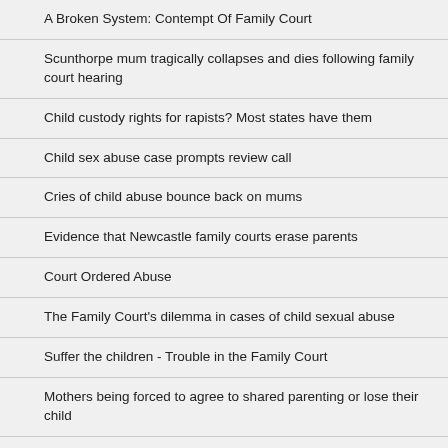A Broken System: Contempt Of Family Court
Scunthorpe mum tragically collapses and dies following family court hearing
Child custody rights for rapists? Most states have them
Child sex abuse case prompts review call
Cries of child abuse bounce back on mums
Evidence that Newcastle family courts erase parents
Court Ordered Abuse
The Family Court's dilemma in cases of child sexual abuse
Suffer the children - Trouble in the Family Court
Mothers being forced to agree to shared parenting or lose their child
Scandal of 'unqualified' experts who advise our family courts: Decisions about the care of thousands of children routinely flawed
Free missing Watter twins from sexual slavery - part 1
My child did exist